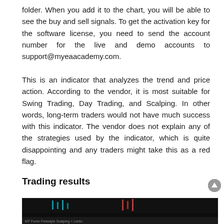folder. When you add it to the chart, you will be able to see the buy and sell signals. To get the activation key for the software license, you need to send the account number for the live and demo accounts to support@myeaacademy.com.
This is an indicator that analyzes the trend and price action. According to the vendor, it is most suitable for Swing Trading, Day Trading, and Scalping. In other words, long-term traders would not have much success with this indicator. The vendor does not explain any of the strategies used by the indicator, which is quite disappointing and any traders might take this as a red flag.
Trading results
[Figure (screenshot): Screenshot of a trading chart interface with dark background showing candlestick or price action data with colored indicators]